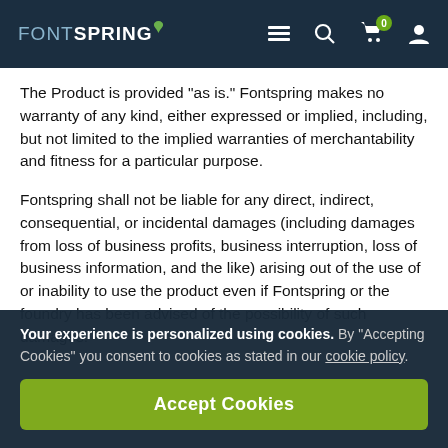FONTSPRING — navigation header with menu, search, cart (0), and account icons
The Product is provided "as is." Fontspring makes no warranty of any kind, either expressed or implied, including, but not limited to the implied warranties of merchantability and fitness for a particular purpose.
Fontspring shall not be liable for any direct, indirect, consequential, or incidental damages (including damages from loss of business profits, business interruption, loss of business information, and the like) arising out of the use of or inability to use the product even if Fontspring or the foundry has been advised of the possibility of such damages.
Your experience is personalized using cookies. By “Accepting Cookies” you consent to cookies as stated in our cookie policy.
Accept Cookies